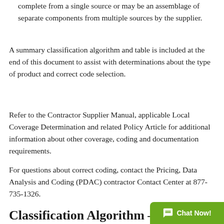complete from a single source or may be an assemblage of separate components from multiple sources by the supplier.
A summary classification algorithm and table is included at the end of this document to assist with determinations about the type of product and correct code selection.
Refer to the Contractor Supplier Manual, applicable Local Coverage Determination and related Policy Article for additional information about other coverage, coding and documentation requirements.
For questions about correct coding, contact the Pricing, Data Analysis and Coding (PDAC) contractor Contact Center at 877-735-1326.
Classification Algorithm – Ove